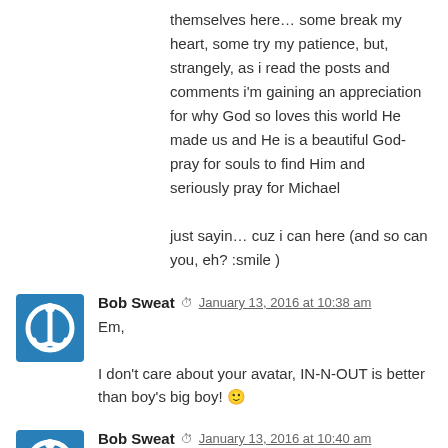themselves here… some break my heart, some try my patience, but, strangely, as i read the posts and comments i'm gaining an appreciation for why God so loves this world He made us and He is a beautiful God- pray for souls to find Him and seriously pray for Michael

just sayin… cuz i can here (and so can you, eh? :smile )
Bob Sweat — January 13, 2016 at 10:38 am
Em,

I don't care about your avatar, IN-N-OUT is better than boy's big boy! 🙂
Bob Sweat — January 13, 2016 at 10:40 am
Excuse me, Moniker.
Bob Sweat — January 13, 2016 at 10:41 am
Kevin,